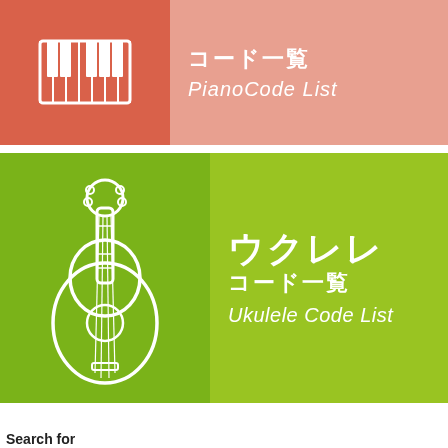[Figure (illustration): Piano Code List banner with piano keyboard icon on dark red-orange background (left) and Japanese text 'コード一覧' and italic English text 'PianoCode List' on light salmon background (right)]
[Figure (illustration): Ukulele Code List banner with ukulele guitar icon on dark green background (left) and Japanese text 'ウクレレ コード一覧' and italic English text 'Ukulele Code List' on lighter green background (right)]
Search for
01.  Java Coding Course
02.  Learn Java Programming
03.  Mobi
04.  Top B
Yahoo! Search | Sponsored